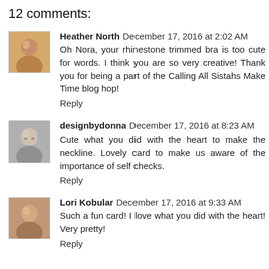12 comments:
Heather North  December 17, 2016 at 2:02 AM
Oh Nora, your rhinestone trimmed bra is too cute for words. I think you are so very creative! Thank you for being a part of the Calling All Sistahs Make Time blog hop!
Reply
designbydonna  December 17, 2016 at 8:23 AM
Cute what you did with the heart to make the neckline. Lovely card to make us aware of the importance of self checks.
Reply
Lori Kobular  December 17, 2016 at 9:33 AM
Such a fun card! I love what you did with the heart! Very pretty!
Reply